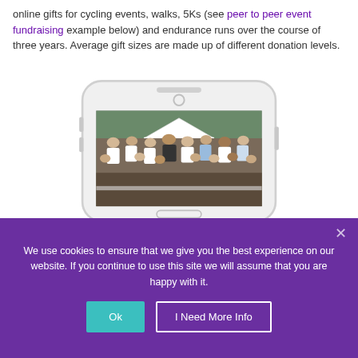online gifts for cycling events, walks, 5Ks (see peer to peer event fundraising example below) and endurance runs over the course of three years. Average gift sizes are made up of different donation levels.
[Figure (illustration): A smartphone illustration showing a crowd of people at an outdoor event (a fundraising run/walk) displayed on the phone screen. The phone is drawn in light gray with rounded corners, a camera circle at top, and a home button.]
We use cookies to ensure that we give you the best experience on our website. If you continue to use this site we will assume that you are happy with it.